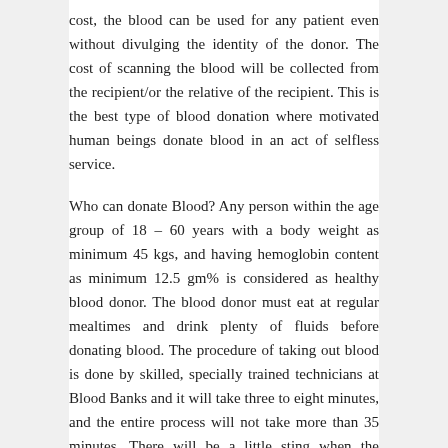cost, the blood can be used for any patient even without divulging the identity of the donor. The cost of scanning the blood will be collected from the recipient/or the relative of the recipient. This is the best type of blood donation where motivated human beings donate blood in an act of selfless service.
Who can donate Blood? Any person within the age group of 18 – 60 years with a body weight as minimum 45 kgs, and having hemoglobin content as minimum 12.5 gm% is considered as healthy blood donor. The blood donor must eat at regular mealtimes and drink plenty of fluids before donating blood. The procedure of taking out blood is done by skilled, specially trained technicians at Blood Banks and it will take three to eight minutes, and the entire process will not take more than 35 minutes. There will be a little sting when the needle is inserted, but there will not be any pain during the donation. There will not be any adverse effects after blood donation. However,the donor needs rest, preferably lying down, so that the